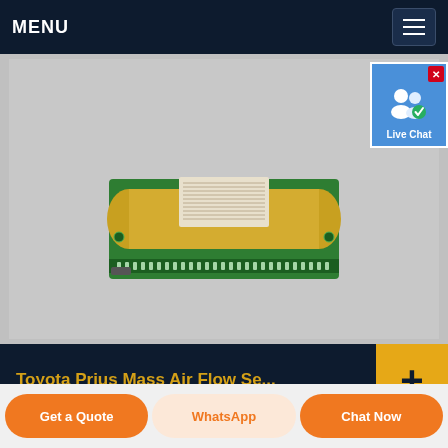MENU
[Figure (photo): Toyota Prius Mass Air Flow Sensor — a green PCB circuit board with a gold-colored sensor element mounted on top, featuring connection pins along the bottom edge.]
Toyota Prius Mass Air Flow Se...
Toyota Prius Mass Air Flo...
Get a Quote | WhatsApp | Chat Now